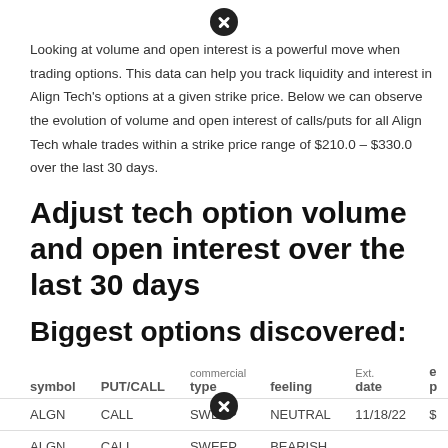Looking at volume and open interest is a powerful move when trading options. This data can help you track liquidity and interest in Align Tech's options at a given strike price. Below we can observe the evolution of volume and open interest of calls/puts for all Align Tech whale trades within a strike price range of $210.0 – $330.0 over the last 30 days.
Adjust tech option volume and open interest over the last 30 days
Biggest options discovered:
| symbol | PUT/CALL | commercial type | feeling | Ext. date | p |
| --- | --- | --- | --- | --- | --- |
| ALGN | CALL | SWEEP | NEUTRAL | 11/18/22 | $ |
| ALGN | CALL | SWEEP | BEARISH |  |  |